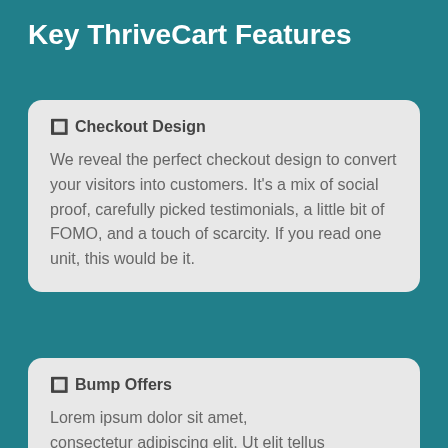Key ThriveCart Features
Checkout Design
We reveal the perfect checkout design to convert your visitors into customers. It's a mix of social proof, carefully picked testimonials, a little bit of FOMO, and a touch of scarcity. If you read one unit, this would be it.
Bump Offers
Lorem ipsum dolor sit amet, consectetur adipiscing elit. Ut elit tellus